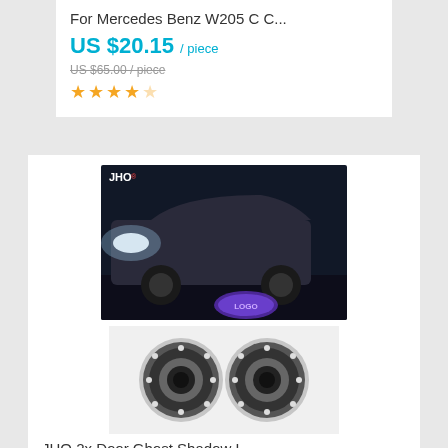For Mercedes Benz W205 C C...
US $20.15 / piece
US $65.00 / piece
★★★★☆
[Figure (photo): Car with LED door ghost shadow light projection showing logo on ground, and two LED light units]
JHO 2x Door Ghost Shadow L...
US $43.88 / piece
US $67.50 / piece
★★★★☆